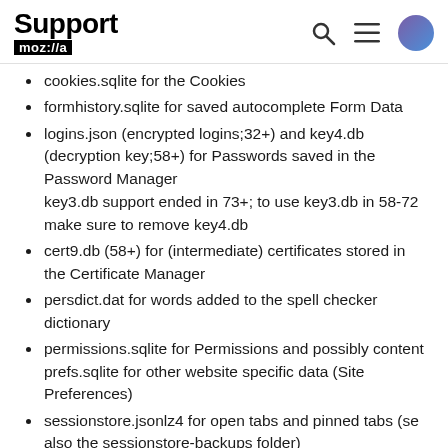Support moz://a
cookies.sqlite for the Cookies
formhistory.sqlite for saved autocomplete Form Data
logins.json (encrypted logins;32+) and key4.db (decryption key;58+) for Passwords saved in the Password Manager
key3.db support ended in 73+; to use key3.db in 58-72 make sure to remove key4.db
cert9.db (58+) for (intermediate) certificates stored in the Certificate Manager
persdict.dat for words added to the spell checker dictionary
permissions.sqlite for Permissions and possibly content-prefs.sqlite for other website specific data (Site Preferences)
sessionstore.jsonlz4 for open tabs and pinned tabs (see also the sessionstore-backups folder)